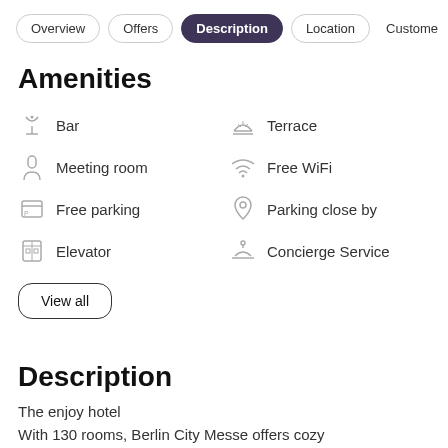Overview | Offers | Description | Location | Customer
Amenities
Bar
Terrace
Meeting room
Free WiFi
Free parking
Parking close by
Elevator
Concierge Service
View all
Description
The enjoy hotel
With 130 rooms, Berlin City Messe offers cozy accommodation in comfortable Standard category double rooms. All rooms are